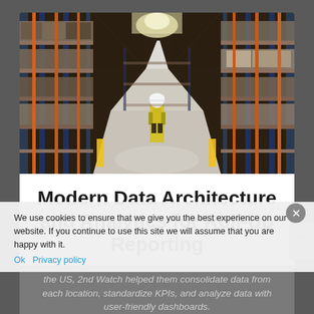[Figure (photo): Interior of a large warehouse with tall metal shelving racks loaded with goods on both sides, a worker in a yellow safety vest and white hard hat walking down the aisle, with industrial lighting overhead and perspective view down the aisle.]
Modern Data Architecture and Analytics for Roll-Up Reporting
the US, 2nd Watch helped them consolidate data from each location, standardize KPIs, and analyze data with user-friendly dashboards.
We use cookies to ensure that we give you the best experience on our website. If you continue to use this site we will assume that you are happy with it.
Ok   Privacy policy